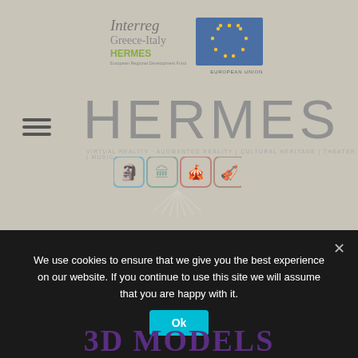[Figure (logo): Interreg Greece-Italy HERMES program logo with EU flag and European Regional Development Fund text]
HERMES
VIRTUAL REALITY · AUGMENTED REALITY | CULTURAL HERITAGE | THEATER | MUSIC
[Figure (illustration): Four rounded-square icons representing cultural heritage themes (theater mask, columns, drama mask, lyre), with a light glow/rays effect below]
We use cookies to ensure that we give you the best experience on our website. If you continue to use this site we will assume that you are happy with it.
Ok
3D MODELS